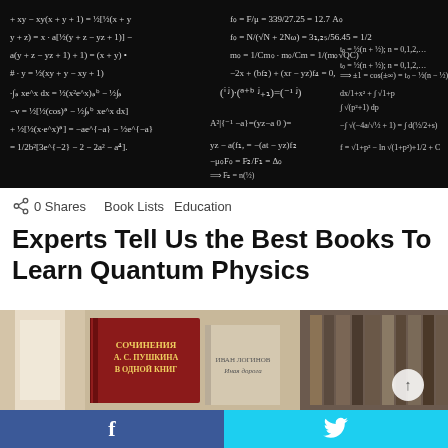[Figure (photo): Black chalkboard covered with handwritten mathematical equations and formulas in white chalk]
0 Shares  Book Lists  Education
Experts Tell Us the Best Books To Learn Quantum Physics
[Figure (photo): Bookshelf with books, prominently featuring a red Russian book titled СОЧИНЕНИЯ А. С. ПУШКИНА В ОДНОЙ КНИГ]
[Figure (other): Social share bar with Facebook and Twitter buttons]